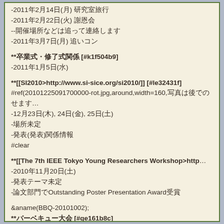-2011年2月14日(月) 研究室旅行
-2011年2月22日(火) 謝恩会
--開催場所などは追って連絡します
-2011年3月7日(月) 追いコン
**卒業式・修了式関係 [#k1f504b9]
-2011年1月5日(水)
**[[SI2010>http://www.si-sice.org/si2010/]] [#le32431f]
#ref(20101225091700000-rot.jpg,around,width=160,写真は後でのせます)
-12月23日(木), 24日(金), 25日(土)
-場所未定
-発表(発表)関係情報
#clear
**[[The 7th IEEE Tokyo Young Researchers Workshop>http://...]
-2010年11月20日(土)
-発表テーマ未定
-論文部門でOutstanding Poster Presentation Award受賞
&aname(BBQ-20101002);
**バーベキュー大会 [#qe161b8c]
#ref(PA020235.JPG,around,width=160,BBQ);
-10月2日(土)